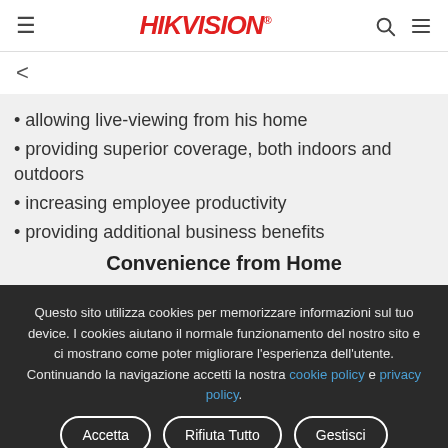HIKVISION
• allowing live-viewing from his home
• providing superior coverage, both indoors and outdoors
• increasing employee productivity
• providing additional business benefits
Convenience from Home
Questo sito utilizza cookies per memorizzare informazioni sul tuo device. I cookies aiutano il normale funzionamento del nostro sito e ci mostrano come poter migliorare l'esperienza dell'utente. Continuando la navigazione accetti la nostra cookie policy e privacy policy.
Accetta | Rifiuta Tutto | Gestisci